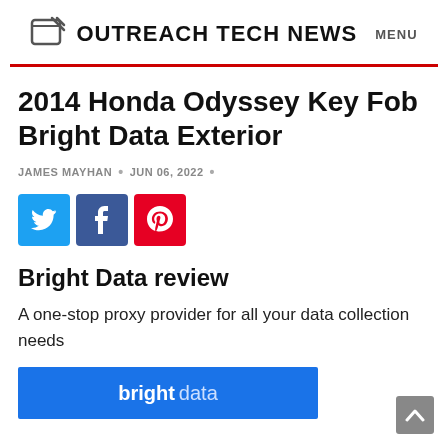OUTREACH TECH NEWS   MENU
2014 Honda Odyssey Key Fob Bright Data Exterior
JAMES MAYHAN  •  JUN 06, 2022  •
[Figure (other): Social share buttons: Twitter (blue), Facebook (dark blue), Pinterest (red)]
Bright Data review
A one-stop proxy provider for all your data collection needs
[Figure (logo): Bright Data blue banner logo with 'bright' in bold white and 'data' in light text]